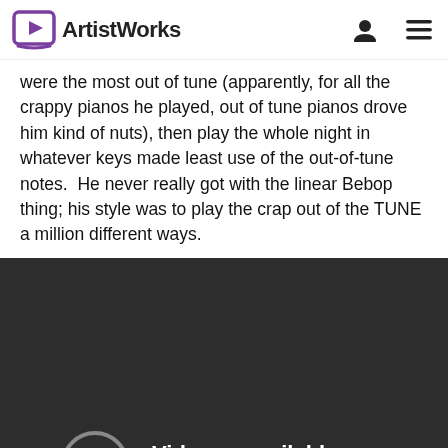AristWorks
were the most out of tune (apparently, for all the crappy pianos he played, out of tune pianos drove him kind of nuts), then play the whole night in whatever keys made least use of the out-of-tune notes.  He never really got with the linear Bebop thing; his style was to play the crap out of the TUNE a million different ways.
[Figure (screenshot): Video unavailable error screen with exclamation icon. Text reads: 'Video unavailable' and 'This video is not available']